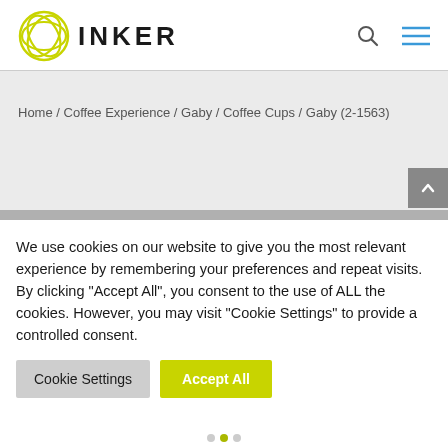[Figure (logo): INKER brand logo with a circular olive/yellow geometric icon and the word INKER in bold black text]
Home / Coffee Experience / Gaby / Coffee Cups / Gaby (2-1563)
We use cookies on our website to give you the most relevant experience by remembering your preferences and repeat visits. By clicking "Accept All", you consent to the use of ALL the cookies. However, you may visit "Cookie Settings" to provide a controlled consent.
Cookie Settings
Accept All